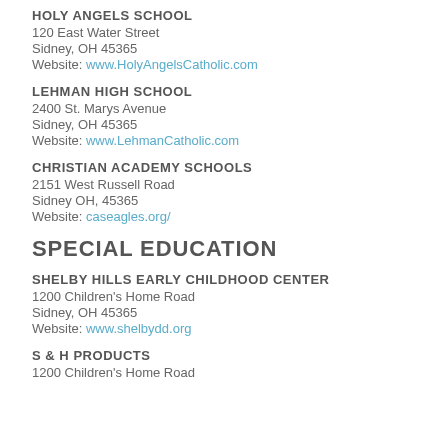HOLY ANGELS SCHOOL
120 East Water Street
Sidney, OH 45365
Website: www.HolyAngelsCatholic.com
LEHMAN HIGH SCHOOL
2400 St. Marys Avenue
Sidney, OH 45365
Website: www.LehmanCatholic.com
CHRISTIAN ACADEMY SCHOOLS
2151 West Russell Road
Sidney OH, 45365
Website: caseagles.org/
SPECIAL EDUCATION
SHELBY HILLS EARLY CHILDHOOD CENTER
1200 Children's Home Road
Sidney, OH 45365
Website: www.shelbydd.org
S & H PRODUCTS
1200 Children's Home Road